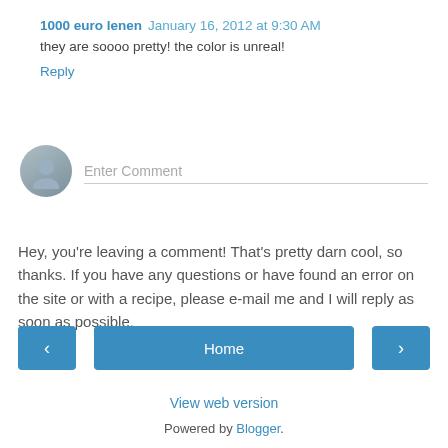1000 euro lenen January 16, 2012 at 9:30 AM
they are soooo pretty! the color is unreal!
Reply
[Figure (illustration): User avatar placeholder circle with a generic person silhouette icon]
Enter Comment
Hey, you're leaving a comment! That's pretty darn cool, so thanks. If you have any questions or have found an error on the site or with a recipe, please e-mail me and I will reply as soon as possible.
~Garrett
‹
Home
›
View web version
Powered by Blogger.